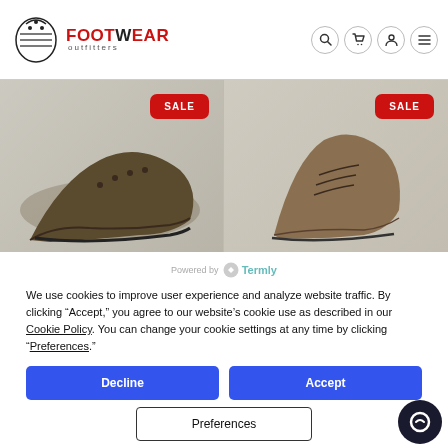[Figure (logo): Footwear Outfitters logo with boot print graphic and red text]
[Figure (infographic): Navigation icons: search, cart, account, menu]
[Figure (photo): Two shoe product images side by side with red SALE badges]
Powered by Termly
We use cookies to improve user experience and analyze website traffic. By clicking “Accept,” you agree to our website’s cookie use as described in our Cookie Policy. You can change your cookie settings at any time by clicking “Preferences.”
Decline
Accept
Preferences